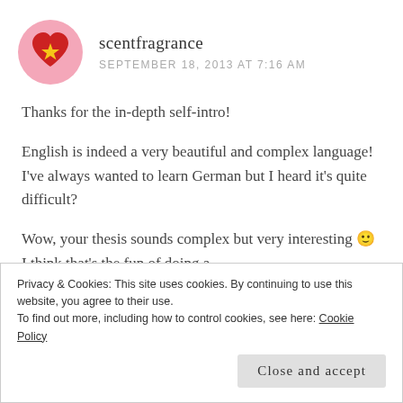[Figure (illustration): Pink circular avatar with a red heart containing a yellow star in the center]
scentfragrance
SEPTEMBER 18, 2013 AT 7:16 AM
Thanks for the in-depth self-intro!
English is indeed a very beautiful and complex language! I've always wanted to learn German but I heard it's quite difficult?
Wow, your thesis sounds complex but very interesting 🙂 I think that's the fun of doing a
Privacy & Cookies: This site uses cookies. By continuing to use this website, you agree to their use.
To find out more, including how to control cookies, see here: Cookie Policy
Close and accept